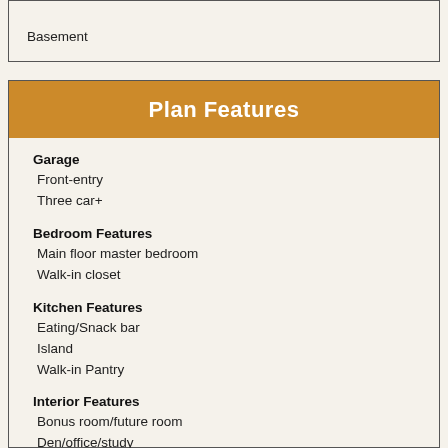Basement
Plan Features
Garage
Front-entry
Three car+
Bedroom Features
Main floor master bedroom
Walk-in closet
Kitchen Features
Eating/Snack bar
Island
Walk-in Pantry
Interior Features
Bonus room/future room
Den/office/study
Great room
Laundry